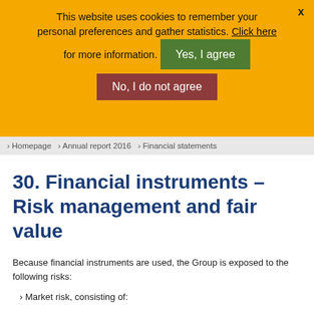This website uses cookies to remember your personal preferences and gather statistics. Click here for more information.  Yes, I agree  No, I do not agree
› Homepage  › Annual report 2016  › Financial statements
30. Financial instruments – Risk management and fair value
Because financial instruments are used, the Group is exposed to the following risks:
Market risk, consisting of: